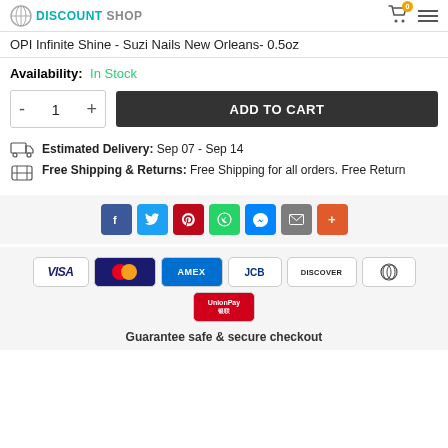DISCOUNT SHOP
OPI Infinite Shine - Suzi Nails New Orleans- 0.5oz
Availability: In Stock
- 1 + ADD TO CART
Estimated Delivery: Sep 07 - Sep 14
Free Shipping & Returns: Free Shipping for all orders. Free Return
[Figure (infographic): Social share buttons: Facebook, Twitter, Pinterest, WhatsApp, Messenger, Email, More]
[Figure (infographic): Payment method logos: Visa, Mastercard, Amex, JCB, Discover, Diners Club, UnionPay]
Guarantee safe & secure checkout